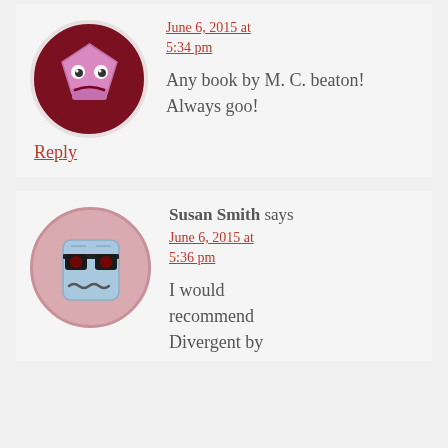[Figure (illustration): Cartoon avatar: pink pentagon face with eyes and frown on dark red circular background]
June 6, 2015 at 5:34 pm
Any book by M. C. beaton! Always goo!
Reply
[Figure (illustration): Cartoon avatar: blue square face with sunglasses and wavy mouth on pinkish circular background]
Susan Smith says
June 6, 2015 at 5:36 pm
I would recommend Divergent by